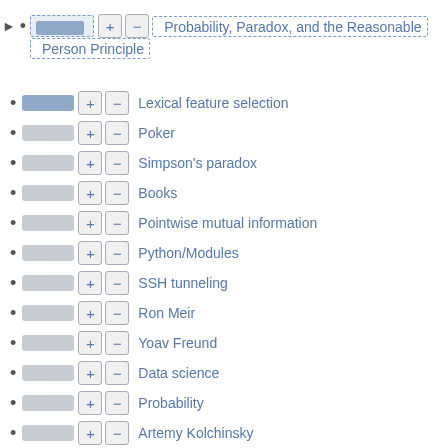Probability, Paradox, and the Reasonable Person Principle
Lexical feature selection
Poker
Simpson's paradox
Books
Pointwise mutual information
Python/Modules
SSH tunneling
Ron Meir
Yoav Freund
Data science
Probability
Artemy Kolchinsky
Jupyter
Gradient descent
David Eld...